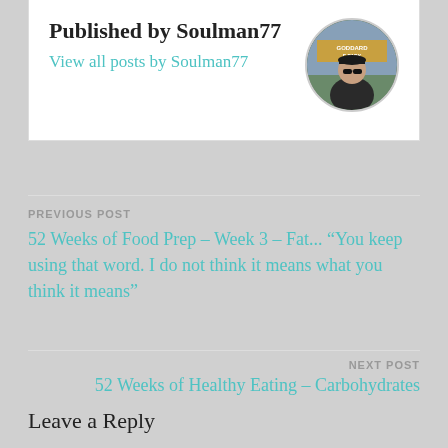Published by Soulman77
View all posts by Soulman77
[Figure (photo): Circular avatar photo of Soulman77, a person wearing sunglasses and a dark t-shirt, standing in front of a sign reading GODDARD PARK]
PREVIOUS POST
52 Weeks of Food Prep – Week 3 – Fat... “You keep using that word. I do not think it means what you think it means”
NEXT POST
52 Weeks of Healthy Eating – Carbohydrates
Leave a Reply